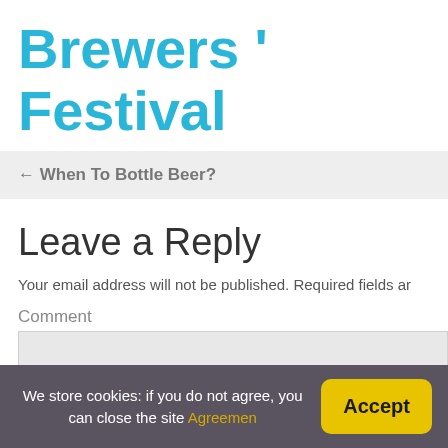Brewers ' Festival
← When To Bottle Beer?
Leave a Reply
Your email address will not be published. Required fields ar
Comment
We store cookies: if you do not agree, you can close the site Agreemen